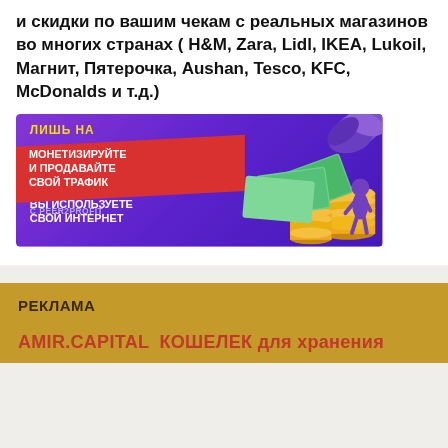и скидки по вашим чекам с реальных магазинов во многих странах ( H&M, Zara, Lidl, IKEA, Lukoil, Магнит, Пятерочка, Aushan, Tesco, KFC, McDonalds и т.д.)
[Figure (illustration): Advertisement banner with purple gradient background showing '10% ЛИШЬ НА' in yellow, 'ВЫ ИСПОЛЬЗУЕТЕ СВОЙ ИНТЕРНЕТ' in white, red banner with 'МОНЕТИЗИРУЙТЕ И ПРОДАВАЙТЕ СВОЙ ТРАФИК', 'С PEER2PROFIT' text, illustrated coins and banknotes with a person figure on the right side.]
РЕКЛАМА
AMIR.CAPITAL  КОШЕЛЕК для хранения